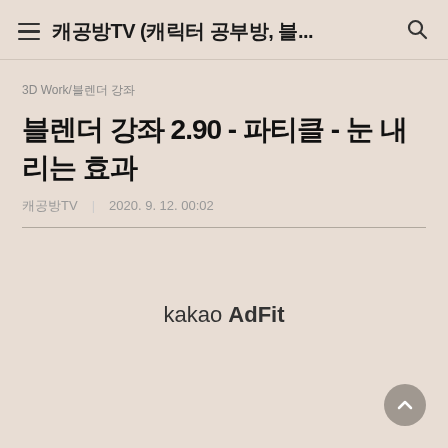캐공방TV (캐릭터 공부방, 블...
3D Work/블렌더 강좌
블렌더 강좌 2.90 - 파티클 - 눈 내리는 효과
캐공방TV    2020. 9. 12. 00:02
[Figure (other): kakao AdFit advertisement placeholder]